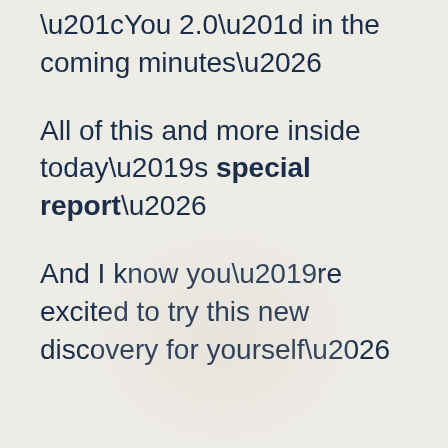“You 2.0” in the coming minutes…
All of this and more inside today’s special report…
And I know you’re excited to try this new discovery for yourself…